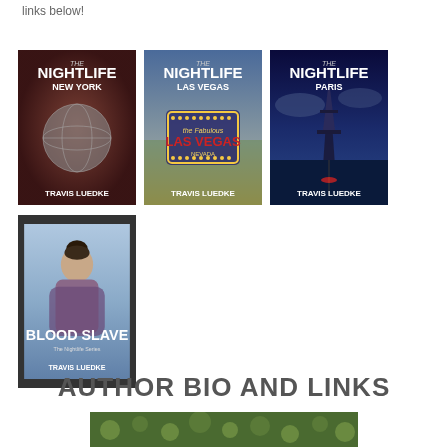links below!
[Figure (photo): Book cover: The Nightlife New York by Travis Luedke - dark maroon cover with metallic globe]
[Figure (photo): Book cover: The Nightlife Las Vegas by Travis Luedke - Las Vegas welcome sign]
[Figure (photo): Book cover: The Nightlife Paris by Travis Luedke - Eiffel Tower at night in blue tones]
[Figure (photo): Book cover: Blood Slave by Travis Luedke - woman with dark hair updo against cloudy sky]
AUTHOR BIO AND LINKS
[Figure (photo): Author photo - person surrounded by green foliage/plants]